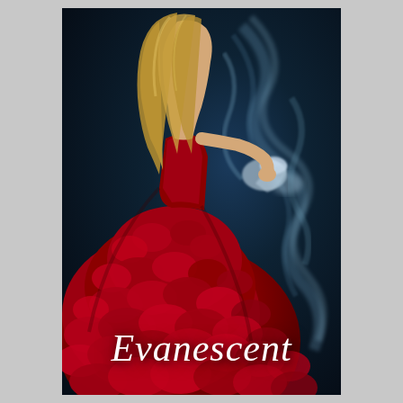[Figure (illustration): Book cover for 'Evanescent'. A young woman with long blonde hair, seen from behind, wearing an elaborate voluminous deep red rose-petal ballgown, reaching her right hand out toward a dark blue swirling water or smoke background. The title 'Evanescent' is written in white italic serif font at the bottom of the cover.]
Evanescent